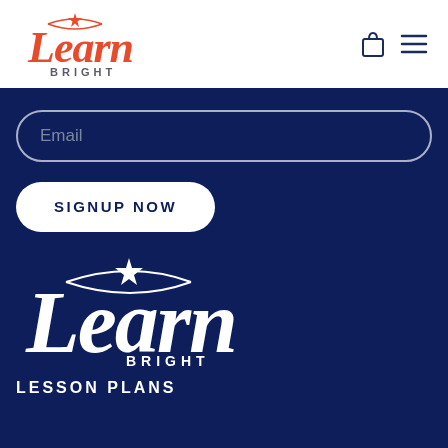[Figure (logo): Learn Bright logo in red script with BRIGHT in gray letters below, top left of header]
[Figure (other): Shopping bag icon and hamburger menu icon, top right of header]
[Figure (other): Email input field with rounded border on dark navy background]
[Figure (other): White SIGNUP NOW button with rounded corners on dark navy background]
[Figure (logo): Learn Bright logo in white script with BRIGHT in white letters below, on dark navy background]
LESSON PLANS